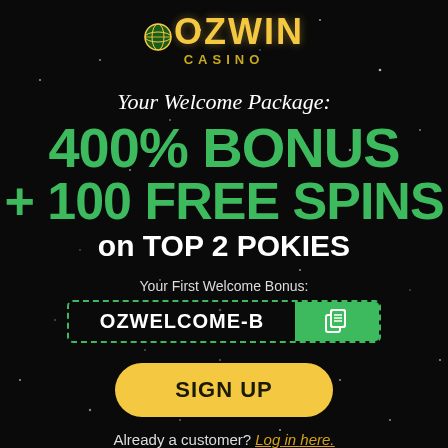[Figure (logo): OZWIN CASINO logo with globe icon in gold/yellow colors on black background]
Your Welcome Package:
400% BONUS + 100 FREE SPINS on TOP 2 POKIES
Your First Welcome Bonus:
OZWELCOME-B
SIGN UP
Already a customer? Log in here.